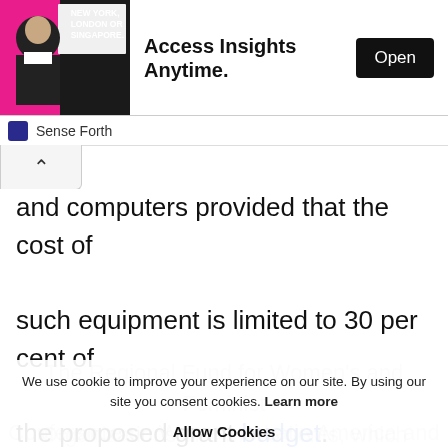[Figure (screenshot): Advertisement banner: man in suit, 'NEW YORK, LONDON OR SINGAPORE.' text, 'Access Insights Anytime.' headline, and 'Open' button. Source: Sense Forth]
and computers provided that the cost of such equipment is limited to 30 per cent of the proposed grant budget.
The Regional Fund for Women's and Feminist Organizations and Movements, which emerges within the framework of the ECLAC Regional Conference on Women in Latin America and
We use cookie to improve your experience on our site. By using our site you consent cookies. Learn more
Allow Cookies